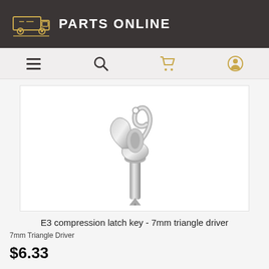PARTS ONLINE
[Figure (photo): Chrome E3 compression latch key with 7mm triangle driver bit, showing decorative scroll handle and triangular socket end]
E3 compression latch key - 7mm triangle driver
7mm Triangle Driver
$6.33